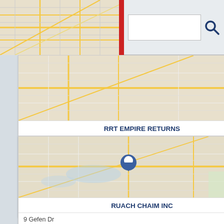[Figure (screenshot): Search bar UI with map thumbnail on left, text input in center, and search icon on right]
[Figure (map): Street map thumbnail for RRT Empire Returns location in Lakewood NJ]
RRT EMPIRE RETURNS
611 New Hampshire Ave
Lakewood, NJ, 08701
7329050768
Ship Bottom Tax Assessor
Surf City Borough Of Tax Collector
Tax Return Preparation
[Figure (map): Street map thumbnail for Ruach Chaim Inc location in Lakewood NJ with blue location pin]
RUACH CHAIM INC
9 Gefen Dr
Lakewood, NJ, 08701
7329429182
Autism Schools
Ocean Gate School